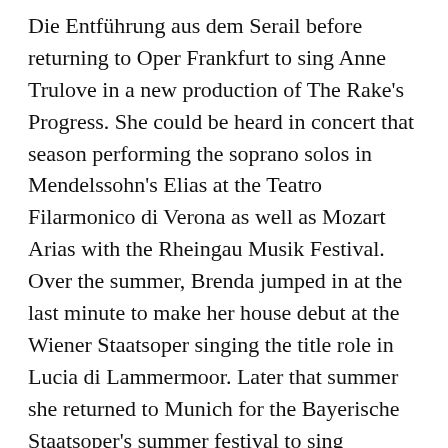Die Entführung aus dem Serail before returning to Oper Frankfurt to sing Anne Trulove in a new production of The Rake's Progress. She could be heard in concert that season performing the soprano solos in Mendelssohn's Elias at the Teatro Filarmonico di Verona as well as Mozart Arias with the Rheingau Musik Festival. Over the summer, Brenda jumped in at the last minute to make her house debut at the Wiener Staatsoper singing the title role in Lucia di Lammermoor. Later that summer she returned to Munich for the Bayerische Staatsoper's summer festival to sing Olympia in Les Contes d'Hoffmann.
Brenda appears on several recordings including Offenbach's Fantasio (Opera Rara), Lowell Liebermann's Little Heaven (Albany Records), Strauss' Ariadne auf Naxos and Wagner's Die Feen